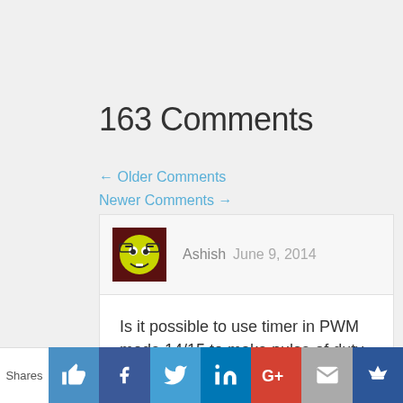163 Comments
← Older Comments
Newer Comments →
Ashish  June 9, 2014
Is it possible to use timer in PWM mode 14/15 to make pulse of duty cycle other than 50%